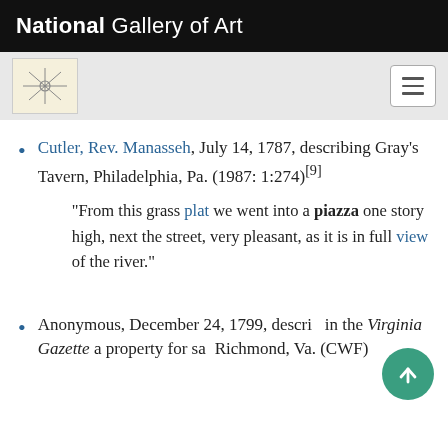National Gallery of Art
Cutler, Rev. Manasseh, July 14, 1787, describing Gray's Tavern, Philadelphia, Pa. (1987: 1:274)[9] "From this grass plat we went into a piazza one story high, next the street, very pleasant, as it is in full view of the river."
Anonymous, December 24, 1799, describing in the Virginia Gazette a property for sale, Richmond, Va. (CWF)